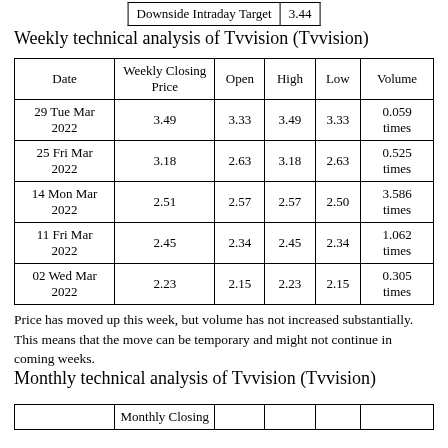| Downside Intraday Target | 3.44 |
| --- | --- |
Weekly technical analysis of Tvvision (Tvvision)
| Date | Weekly Closing Price | Open | High | Low | Volume |
| --- | --- | --- | --- | --- | --- |
| 29 Tue Mar 2022 | 3.49 | 3.33 | 3.49 | 3.33 | 0.059 times |
| 25 Fri Mar 2022 | 3.18 | 2.63 | 3.18 | 2.63 | 0.525 times |
| 14 Mon Mar 2022 | 2.51 | 2.57 | 2.57 | 2.50 | 3.586 times |
| 11 Fri Mar 2022 | 2.45 | 2.34 | 2.45 | 2.34 | 1.062 times |
| 02 Wed Mar 2022 | 2.23 | 2.15 | 2.23 | 2.15 | 0.305 times |
Price has moved up this week, but volume has not increased substantially. This means that the move can be temporary and might not continue in coming weeks.
Monthly technical analysis of Tvvision (Tvvision)
|  | Monthly Closing |  |  |  |  |
| --- | --- | --- | --- | --- | --- |